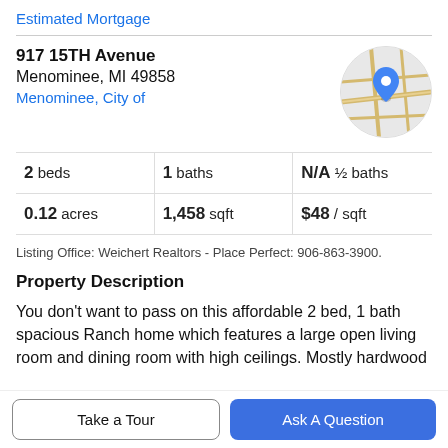Estimated Mortgage
917 15TH Avenue
Menominee, MI 49858
Menominee, City of
[Figure (map): Circular map thumbnail showing street map with blue location pin marker]
| 2 beds | 1 baths | N/A ½ baths |
| 0.12 acres | 1,458 sqft | $48 / sqft |
Listing Office: Weichert Realtors - Place Perfect: 906-863-3900.
Property Description
You don't want to pass on this affordable 2 bed, 1 bath spacious Ranch home which features a large open living room and dining room with high ceilings. Mostly hardwood
Take a Tour
Ask A Question